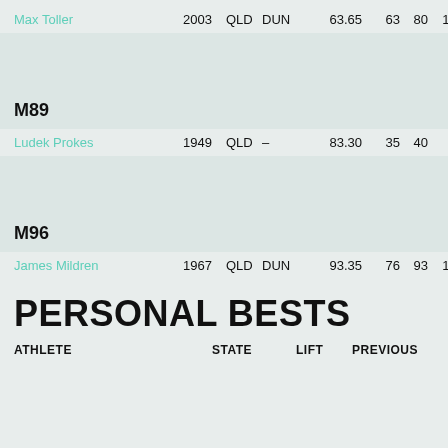| Athlete | Year | State | Lift | BW | SN | CJ | Total | Score |
| --- | --- | --- | --- | --- | --- | --- | --- | --- |
| Max Toller | 2003 | QLD | DUN | 63.65 | 63 | 80 | 143 | 200.098 |
M89
| Athlete | Year | State | Lift | BW | SN | CJ | Total | Score |
| --- | --- | --- | --- | --- | --- | --- | --- | --- |
| Ludek Prokes | 1949 | QLD | – | 83.30 | 35 | 40 | 75 | 89.915 |
M96
| Athlete | Year | State | Lift | BW | SN | CJ | Total | Score |
| --- | --- | --- | --- | --- | --- | --- | --- | --- |
| James Mildren | 1967 | QLD | DUN | 93.35 | 76 | 93 | 169 | 192.493 |
PERSONAL BESTS
| ATHLETE | STATE | LIFT | PREVIOUS | NEW | INCREASE |
| --- | --- | --- | --- | --- | --- |